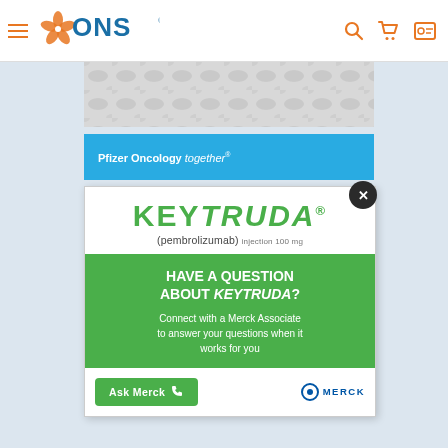ONS navigation header with hamburger menu, ONS logo, search, cart, and account icons
[Figure (other): Gray decorative dot pattern banner]
[Figure (other): Pfizer Oncology together blue advertisement bar]
[Figure (other): KEYTRUDA (pembrolizumab) injection 100mg popup advertisement with green section asking 'Have a question about KEYTRUDA? Connect with a Merck Associate to answer your questions when it works for you' and Ask Merck button with Merck logo. Close X button in top right.]